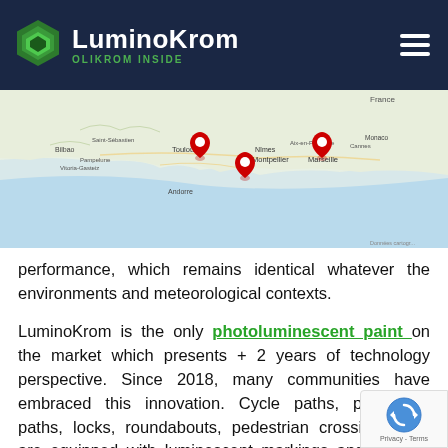LuminoKrom — OLIKROM INSIDE
[Figure (map): Google Maps view of southern France/Spain showing three red location pins near Toulouse, a location between Montpellier and Marseille, and a third near Perpignan/Andorra area. Cities labeled include Bilbao, Saint-Sébastien, Pampelune, Vitoria-Gasteiz, Toulouse, Nîmes, Aix-en-Provence, Monaco, Cannes, Montpellier, Marseille, Andorre.]
performance, which remains identical whatever the environments and meteorological contexts.
LuminoKrom is the only photoluminescent paint on the market which presents + 2 years of technology perspective. Since 2018, many communities have embraced this innovation. Cycle paths, pedestrian paths, locks, roundabouts, pedestrian crossings, etc. are equipped with luminescent markings and light up night after night, relentlessly, with the same intensity always renewed. These achievements have educated on the most relevant practices with regard to the